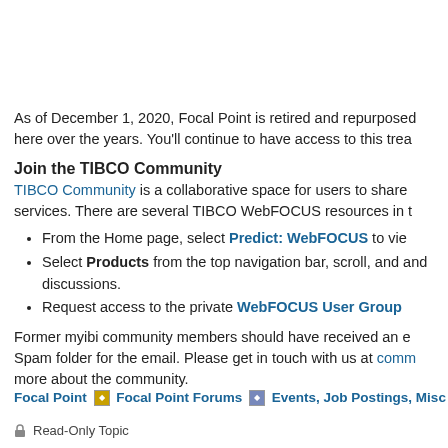As of December 1, 2020, Focal Point is retired and repurposed here over the years. You'll continue to have access to this trea
Join the TIBCO Community
TIBCO Community is a collaborative space for users to share services. There are several TIBCO WebFOCUS resources in t
From the Home page, select Predict: WebFOCUS to vie
Select Products from the top navigation bar, scroll, and and discussions.
Request access to the private WebFOCUS User Group
Former myibi community members should have received an e Spam folder for the email. Please get in touch with us at comm more about the community.
Focal Point | Focal Point Forums | Events, Job Postings, Misc
Read-Only Topic